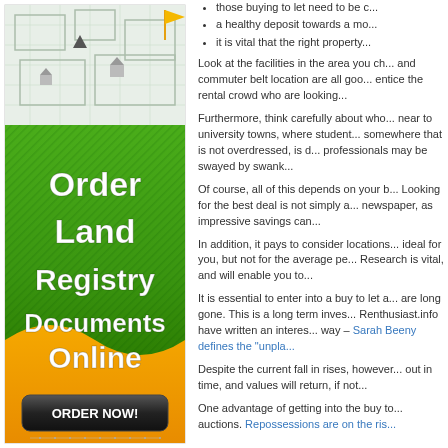[Figure (infographic): Advertisement banner for 'Order Land Registry Documents Online' with green and orange background, map graphic at top, bold white text in center, and a black 'ORDER NOW!' button at bottom.]
those buying to let need to be c...
a healthy deposit towards a mo...
it is vital that the right property...
Look at the facilities in the area you ch... and commuter belt location are all goo... entice the rental crowd who are looking...
Furthermore, think carefully about who... near to university towns, where student... somewhere that is not overdressed, is d... professionals may be swayed by swank...
Of course, all of this depends on your b... Looking for the best deal is not simply a... newspaper, as impressive savings can...
In addition, it pays to consider locations... ideal for you, but not for the average pe... Research is vital, and will enable you to...
It is essential to enter into a buy to let a... are long gone. This is a long term inves... Renthusiast.info have written an interes... way – Sarah Beeny defines the "unpla...
Despite the current fall in rises, however... out in time, and values will return, if not...
One advantage of getting into the buy to... auctions. Repossessions are on the ris...